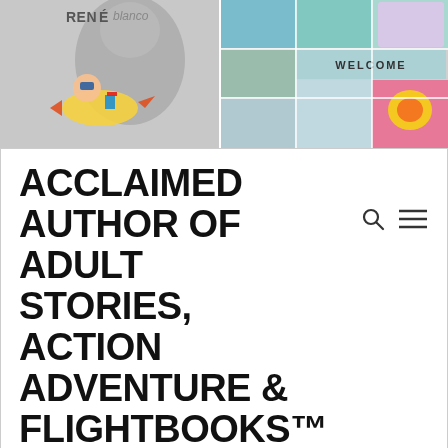[Figure (illustration): Website header banner for René Blanco author site. Contains logo text 'RENÉ blanco', a cartoon mascot of a person on a flying vehicle with books, and a photo collage mosaic with beach/tropical scenes, a portrait, a book cover, and a 'WELCOME' label.]
ACCLAIMED AUTHOR OF ADULT STORIES, ACTION ADVENTURE & FLIGHTBOOKS™ FAST FICTION!
FIGHT AND FLIGHT
(PLEASE CHECK BACK SOON, WE'RE IN THE PROCESS COMPLETING OUR FEW REMAINING